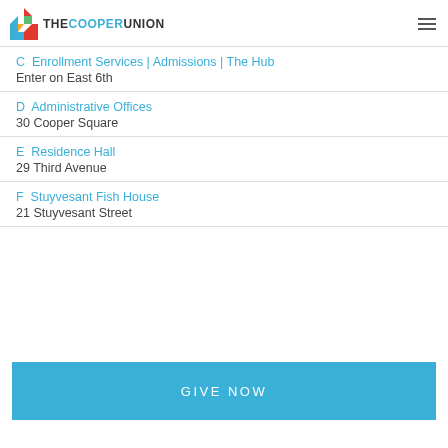THE COOPER UNION
C  Enrollment Services | Admissions | The Hub
Enter on East 6th
D  Administrative Offices
30 Cooper Square
E  Residence Hall
29 Third Avenue
F  Stuyvesant Fish House
21 Stuyvesant Street
GIVE NOW